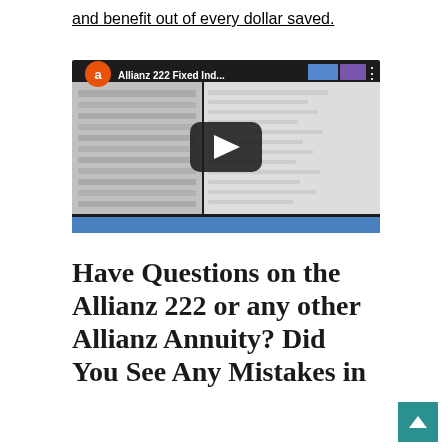and benefit out of every dollar saved.
[Figure (screenshot): YouTube video thumbnail showing Allianz 222 Fixed Indexed Annuity video with orange channel avatar letter 'a', play button, and document screenshots in background.]
Have Questions on the Allianz 222 or any other Allianz Annuity? Did You See Any Mistakes in